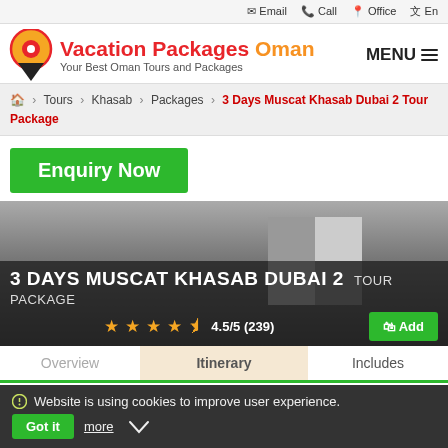Email  Call  Office  En
Vacation Packages Oman — Your Best Oman Tours and Packages
MENU
Home > Tours > Khasab > Packages > 3 Days Muscat Khasab Dubai 2 Tour Package
Enquiry Now
3 DAYS MUSCAT KHASAB DUBAI 2 Tour Package
4.5/5 (239)
Add
Overview  Itinerary  Includes
Website is using cookies to improve user experience. Got it  more